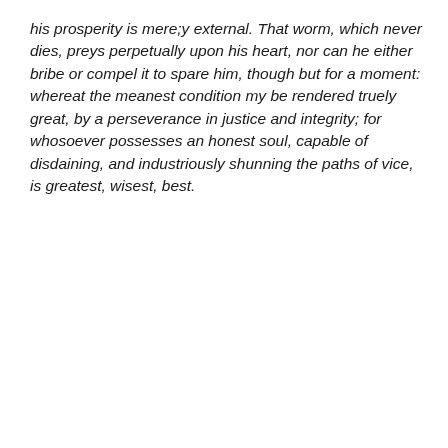his prosperity is mere;y external. That worm, which never dies, preys perpetually upon his heart, nor can he either bribe or compel it to spare him, though but for a moment: whereat the meanest condition my be rendered truely great, by a perseverance in justice and integrity; for whosoever possesses an honest soul, capable of disdaining, and industriously shunning the paths of vice, is greatest, wisest, best.